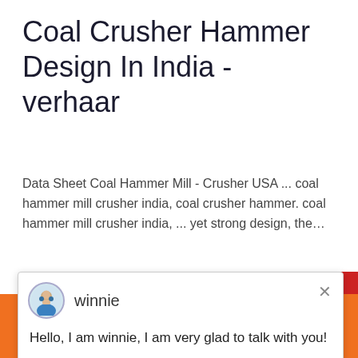Coal Crusher Hammer Design In India - verhaar
Data Sheet Coal Hammer Mill - Crusher USA ... coal hammer mill crusher india, coal crusher hammer. coal hammer mill crusher india, ... yet strong design, the…
[Figure (screenshot): Chat popup with avatar of agent named 'winnie' and message: 'Hello, I am winnie, I am very glad to talk with you!' with a close button (×)]
[Figure (photo): Photo of industrial facility with buildings and forested hills in the background under blue sky]
[Figure (screenshot): Live chat widget sidebar showing agent photo, badge with number 1, 'Click to chat' orange button, and 'Enquiry' section]
Chat Online
cywaitml @gmail.com